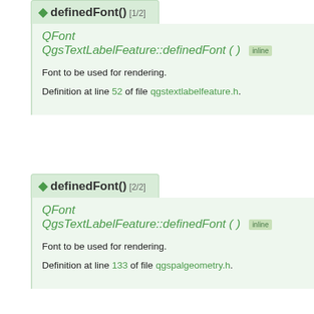◆ definedFont() [1/2]
QFont QgsTextLabelFeature::definedFont ( ) inline
Font to be used for rendering.
Definition at line 52 of file qgstextlabelfeature.h.
◆ definedFont() [2/2]
QFont QgsTextLabelFeature::definedFont ( ) inline
Font to be used for rendering.
Definition at line 133 of file qgspalgeometry.h.